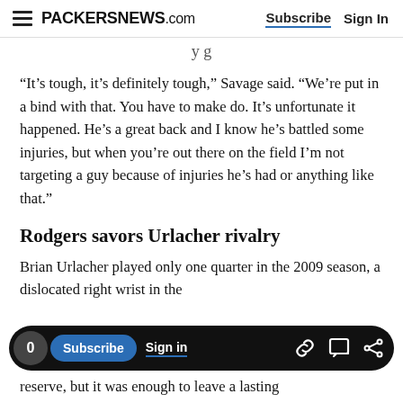PACKERSNEWS.com | Subscribe | Sign In
…y g…
“It’s tough, it’s definitely tough,” Savage said. “We’re put in a bind with that. You have to make do. It’s unfortunate it happened. He’s a great back and I know he’s battled some injuries, but when you’re out there on the field I’m not targeting a guy because of injuries he’s had or anything like that.”
Rodgers savors Urlacher rivalry
Brian Urlacher played only one quarter in the 2009 season, a dislocated right wrist in the reserve, but it was enough to leave a lasting